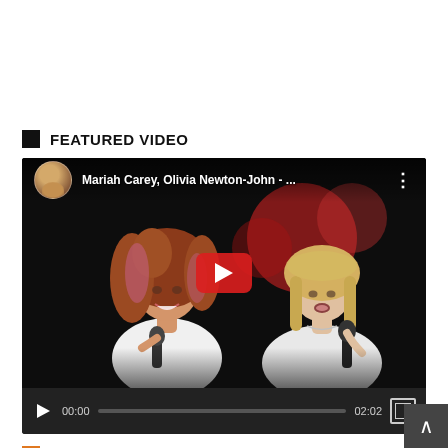FEATURED VIDEO
[Figure (screenshot): YouTube video thumbnail showing Mariah Carey and Olivia Newton-John performing together on a dark stage with bokeh lights in background. Video title shows 'Mariah Carey, Olivia Newton-John - ...' with a circular avatar thumbnail of a woman with blonde hair. Video controls show 00:00 timestamp and 02:02 duration.]
LATEST REVIEWS